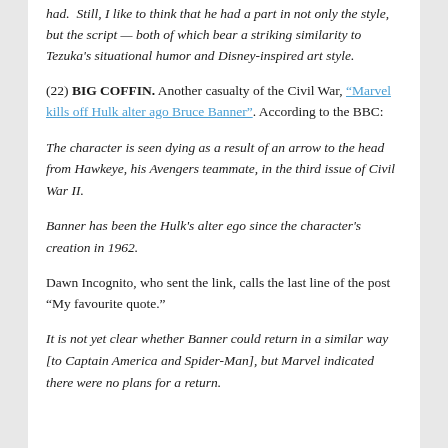had.  Still, I like to think that he had a part in not only the style, but the script — both of which bear a striking similarity to Tezuka's situational humor and Disney-inspired art style.
(22) BIG COFFIN. Another casualty of the Civil War, "Marvel kills off Hulk alter ego Bruce Banner". According to the BBC:
The character is seen dying as a result of an arrow to the head from Hawkeye, his Avengers teammate, in the third issue of Civil War II.
Banner has been the Hulk's alter ego since the character's creation in 1962.
Dawn Incognito, who sent the link, calls the last line of the post “My favourite quote.”
It is not yet clear whether Banner could return in a similar way [to Captain America and Spider-Man], but Marvel indicated there were no plans for a return.